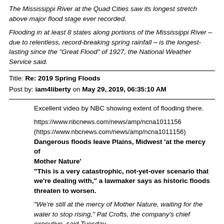The Mississippi River at the Quad Cities saw its longest stretch above major flood stage ever recorded.
Flooding in at least 8 states along portions of the Mississippi River – due to relentless, record-breaking spring rainfall – is the longest-lasting since the "Great Flood" of 1927, the National Weather Service said.
Title: Re: 2019 Spring Floods
Post by: iam4liberty on May 29, 2019, 06:35:10 AM
Excellent video by NBC showing extent of flooding there.
https://www.nbcnews.com/news/amp/ncna1011156
(https://www.nbcnews.com/news/amp/ncna1011156)
Dangerous floods leave Plains, Midwest 'at the mercy of Mother Nature'
"This is a very catastrophic, not-yet-over scenario that we're dealing with," a lawmaker says as historic floods threaten to worsen.
"We're still at the mercy of Mother Nature, waiting for the water to stop rising," Pat Crofts, the company's chief executive, said Tuesday.
The Army Corps of Engineers has been releasing 275,000 cubic feet of water per second from the Keystone Dam, which protects Tulsans from the waters of Keystone Lake and the Arkansas and Cimarron rivers upstream.